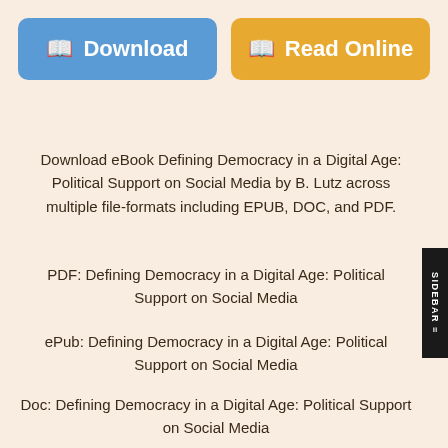[Figure (other): Download button (blue) and Read Online button (orange/yellow) side by side]
Download eBook Defining Democracy in a Digital Age: Political Support on Social Media by B. Lutz across multiple file-formats including EPUB, DOC, and PDF.
PDF: Defining Democracy in a Digital Age: Political Support on Social Media
ePub: Defining Democracy in a Digital Age: Political Support on Social Media
Doc: Defining Democracy in a Digital Age: Political Support on Social Media